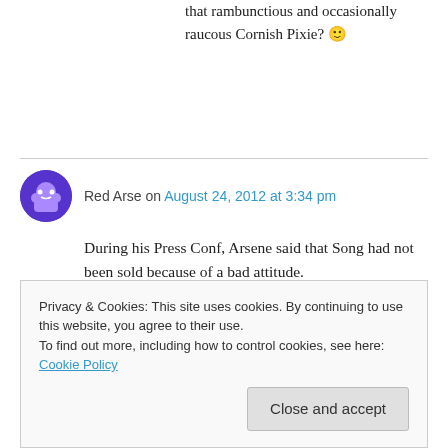that rambunctious and occasionally raucous Cornish Pixie? 🙂
Red Arse on August 24, 2012 at 3:34 pm
During his Press Conf, Arsene said that Song had not been sold because of a bad attitude.
Well he could not be clearer, so those stories about Bouldy grasping Songo by the throat for ignoring instructions were clearly the usual
Privacy & Cookies: This site uses cookies. By continuing to use this website, you agree to their use.
To find out more, including how to control cookies, see here: Cookie Policy